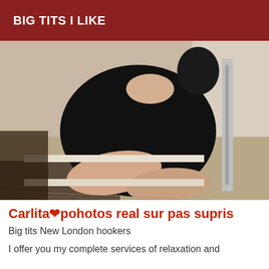BIG TITS I LIKE
[Figure (photo): Woman in black dress sitting on stairs, photographed from above]
Carlita❤pohotos real sur pas supris
Big tits New London hookers
I offer you my complete services of relaxation and